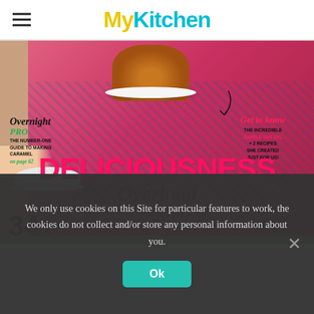MyKitchen
[Figure (photo): MyKitchen magazine cover showing a woman in a pink patterned dress holding a plate with a large burger. Cover text reads: Overnight PRO - THE NUMBER-ONE GUIDE TO MAKING CARAMEL on page 62; Get to know THE INCREDIBLE ZANELE VAN ZYL + 2 RECIPES SHE CREATED JUST FOR US!; DELICIOUSNESS Overload; 34+]
We only use cookies on this Site for particular features to work, the cookies do not collect and/or store any personal information about you.